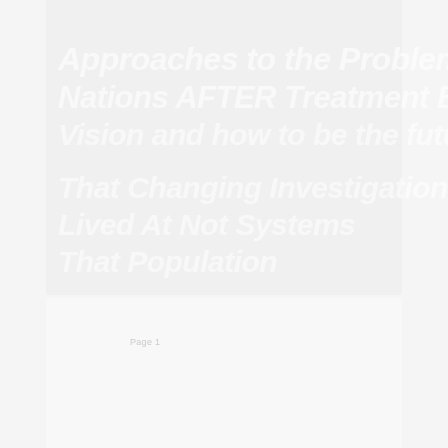[Figure (other): Faded/watermarked cover page with large white semi-transparent italic bold text on a light gray background. The text appears to be a title or heading rendered as a decorative watermark-style graphic. The content is partially legible due to low contrast.]